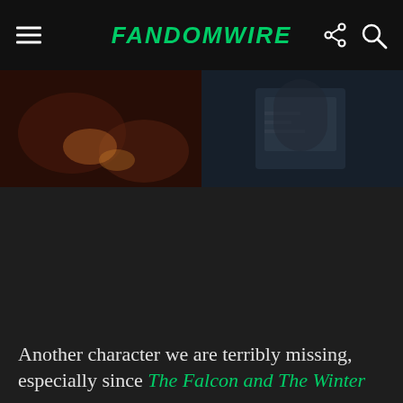FandomWire
[Figure (photo): Two side-by-side movie/TV stills: left shows a dimly lit warm-toned scene with reddish-brown tones, right shows a person in a checkered shirt against a dark background.]
Another character we are terribly missing, especially since The Falcon and The Winter